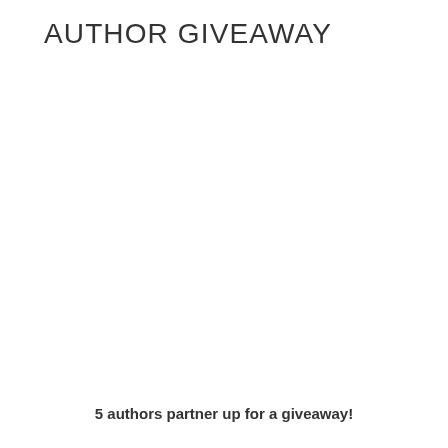AUTHOR GIVEAWAY
5 authors partner up for a giveaway!